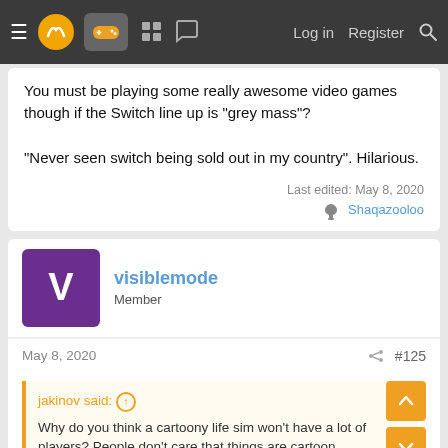Navigation bar with logo, gamepad icon, grid icon, chat icon, Log in, Register, Search
You must be playing some really awesome video games though if the Switch line up is "grey mass"?

"Never seen switch being sold out in my country". Hilarious.
Last edited: May 8, 2020
👍 Shaqazooloo
visiblemode
Member
May 8, 2020
#125
jakinov said: ↑
Why do you think a cartoony life sim won't have a lot of players? People don't care that things are cartoon which is why a lot of mobile games and even console games are popular. Aspects of "sims" games include customization which is something again